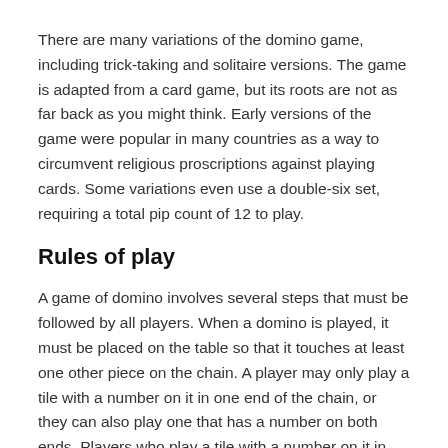There are many variations of the domino game, including trick-taking and solitaire versions. The game is adapted from a card game, but its roots are not as far back as you might think. Early versions of the game were popular in many countries as a way to circumvent religious proscriptions against playing cards. Some variations even use a double-six set, requiring a total pip count of 12 to play.
Rules of play
A game of domino involves several steps that must be followed by all players. When a domino is played, it must be placed on the table so that it touches at least one other piece on the chain. A player may only play a tile with a number on it in one end of the chain, or they can also play one that has a number on both ends. Players who play a tile with a number on it in both ends are said to have “stitched up” the end of the domino chain.